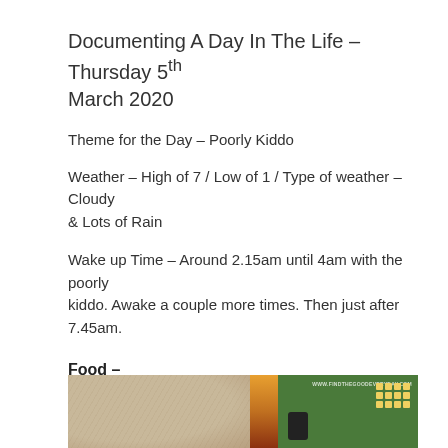Documenting A Day In The Life – Thursday 5th March 2020
Theme for the Day – Poorly Kiddo
Weather – High of 7 / Low of 1 / Type of weather – Cloudy & Lots of Rain
Wake up Time – Around 2.15am until 4am with the poorly kiddo. Awake a couple more times. Then just after 7.45am.
Food –
[Figure (photo): Food photo showing what appears to be a flatbread or dough on the left, an orange/carrot item in the middle, and a green cutting board with yellow cubed food items on the right. Watermark reads WWW.FINDTHEGOODEVERYDAY.COM]